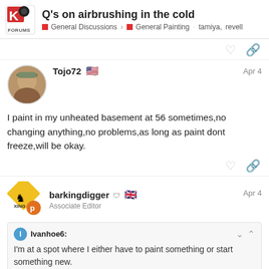Q's on airbrushing in the cold — General Discussions > General Painting tamiya, revell
I paint in my unheated basement at 56 sometimes,no changing anything,no problems,as long as paint dont freeze,will be okay.
barkingdigger Associate Editor Apr 4
Ivanhoe6: I'm at a spot where I either have to paint something or start something new.